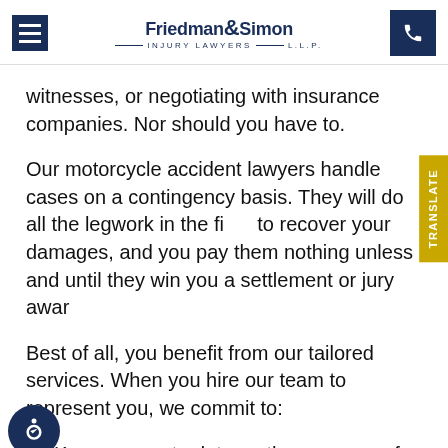Friedman & Simon INJURY LAWYERS L.L.P.
witnesses, or negotiating with insurance companies. Nor should you have to.
Our motorcycle accident lawyers handle cases on a contingency basis. They will do all the legwork in the fight to recover your damages, and you pay them nothing unless and until they win you a settlement or jury award.
Best of all, you benefit from our tailored services. When you hire our team to represent you, we commit to:
Keep you up to date on the progress of your case
Identify all the at-fault parties in your case and establish their liability